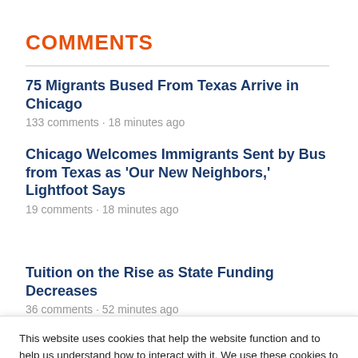COMMENTS
75 Migrants Bused From Texas Arrive in Chicago
133 comments · 18 minutes ago
Chicago Welcomes Immigrants Sent by Bus from Texas as 'Our New Neighbors,' Lightfoot Says
19 comments · 18 minutes ago
Tuition on the Rise as State Funding Decreases
36 comments · 52 minutes ago
This website uses cookies that help the website function and to help us understand how to interact with it. We use these cookies to provide you with improved and customized user-experience. If you continue to the use of the website, we assume that you are okay with it.